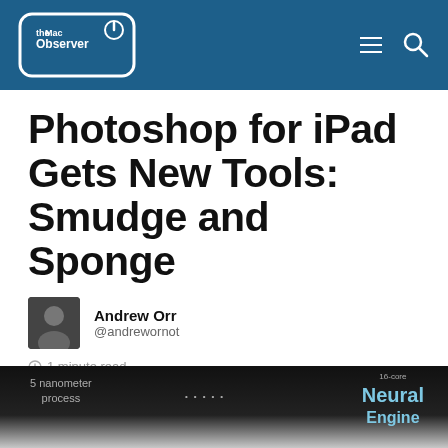the Mac Observer
Photoshop for iPad Gets New Tools: Smudge and Sponge
Andrew Orr
@andrewornot
1 minute read
Dec 14th, 2021 10:50 AM EST | News
[Figure (screenshot): Bottom portion of a dark promotional image showing Apple chip features including '5 nanometer process' and 'Neural Engine' text]